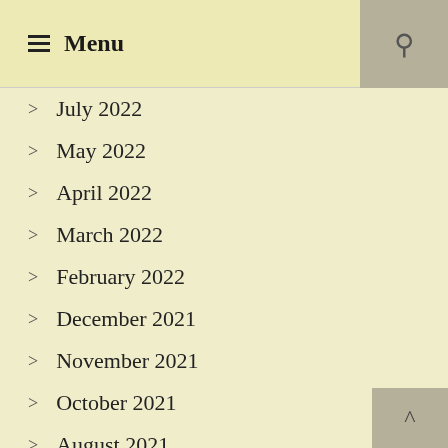Menu
July 2022
May 2022
April 2022
March 2022
February 2022
December 2021
November 2021
October 2021
August 2021
July 2021
May 2021